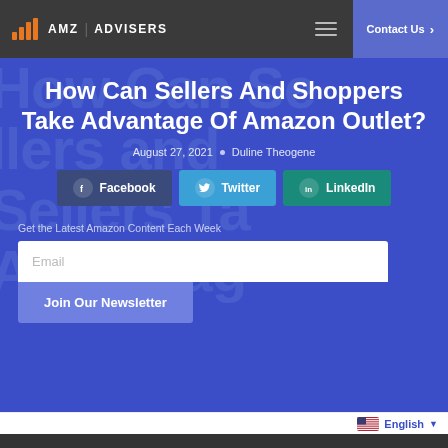AMZ ADVISERS — Contact Us
How Can Sellers And Shoppers Take Advantage Of Amazon Outlet?
August 27, 2021 • Duline Theogene
Facebook  Twitter  LinkedIn
Get the Latest Amazon Content Each Week
Email
Join Our Newsletter
English